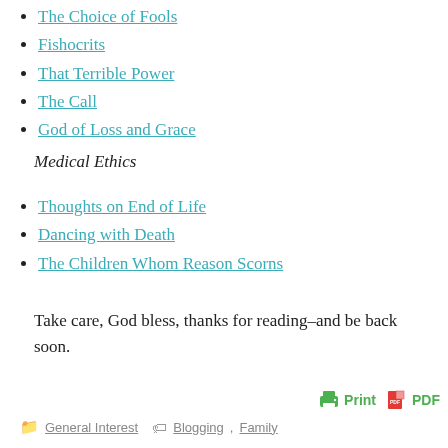The Choice of Fools
Fishocrits
That Terrible Power
The Call
God of Loss and Grace
Medical Ethics
Thoughts on End of Life
Dancing with Death
The Children Whom Reason Scorns
Take care, God bless, thanks for reading–and be back soon.
General Interest   Blogging, Family